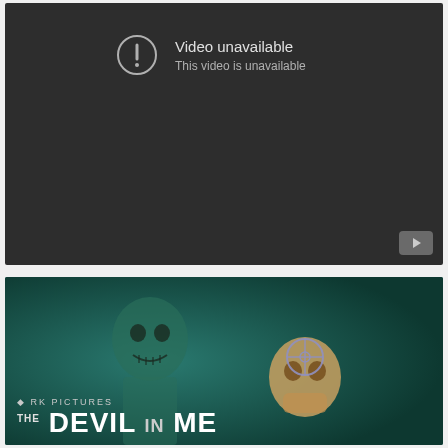[Figure (screenshot): YouTube video player showing 'Video unavailable' error message on dark background. An exclamation mark in a circle icon is shown to the left of the text 'Video unavailable' and 'This video is unavailable'. A YouTube logo button appears in the bottom-right corner.]
[Figure (screenshot): Thumbnail image for 'The Devil in Me' from Dark Pictures anthology. Shows a skull-faced figure holding a skull prop with a crosshair symbol. Dark teal/green atmospheric background. Text reads 'DARK PICTURES' and 'THE DEVIL IN ME'.]